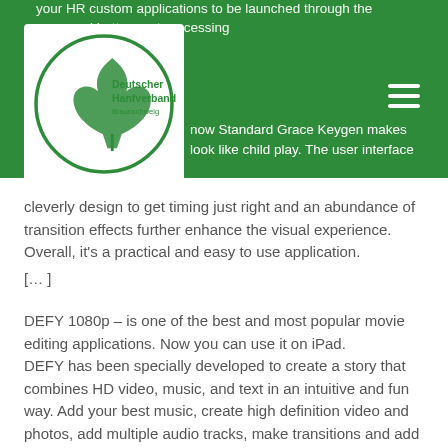[Figure (logo): Deutscher Hanfverband Braunschweig logo — circular green border with a cannabis leaf icon and text]
your HR custom applications to be launched through the
more and better post processing
now Standard Grace Keygen makes
look like child play. The user interface
cleverly design to get timing just right and an abundance of transition effects further enhance the visual experience. Overall, it's a practical and easy to use application.
[...]
DEFY 1080p – is one of the best and most popular movie editing applications. Now you can use it on iPad.
DEFY has been specially developed to create a story that combines HD video, music, and text in an intuitive and fun way. Add your best music, create high definition video and photos, add multiple audio tracks, make transitions and add special effects.